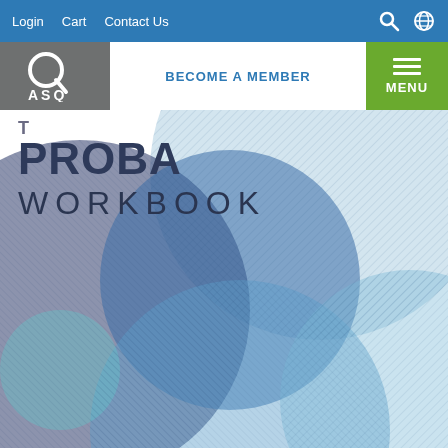Login  Cart  Contact Us
[Figure (logo): ASQ logo - white Q mark with ASQ text on grey background]
BECOME A MEMBER
MENU
THE PROBABILITY WORKBOOK
[Figure (illustration): Abstract overlapping circles in shades of blue and purple forming the book cover design]